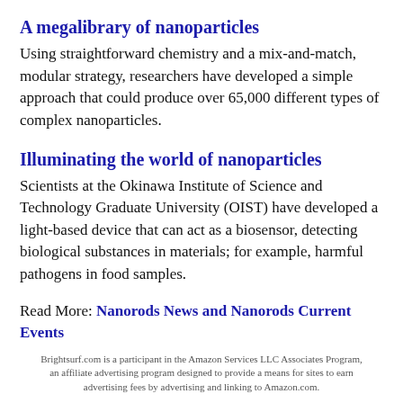A megalibrary of nanoparticles
Using straightforward chemistry and a mix-and-match, modular strategy, researchers have developed a simple approach that could produce over 65,000 different types of complex nanoparticles.
Illuminating the world of nanoparticles
Scientists at the Okinawa Institute of Science and Technology Graduate University (OIST) have developed a light-based device that can act as a biosensor, detecting biological substances in materials; for example, harmful pathogens in food samples.
Read More: Nanorods News and Nanorods Current Events
Brightsurf.com is a participant in the Amazon Services LLC Associates Program, an affiliate advertising program designed to provide a means for sites to earn advertising fees by advertising and linking to Amazon.com.